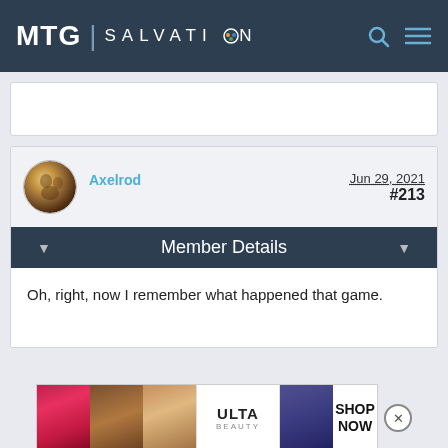MTG SALVATION
Axelrod
Jun 29, 2021
#213
Member Details
Oh, right, now I remember what happened that game.
[Figure (other): Advertisement banner for ULTA Beauty with cosmetics imagery and SHOP NOW call to action]